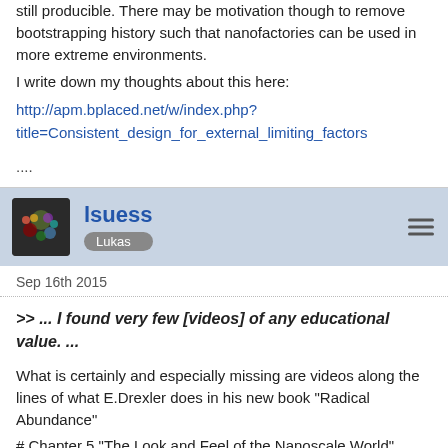still producible. There may be motivation though to remove bootstrapping history such that nanofactories can be used in more extreme environments.
I write down my thoughts about this here:
http://apm.bplaced.net/w/index.php?title=Consistent_design_for_external_limiting_factors
....
lsuess
Lukas
Sep 16th 2015
>> ... I found very few [videos] of any educational value. ...
What is certainly and especially missing are videos along the lines of what E.Drexler does in his new book "Radical Abundance"
# Chapter 5 "The Look and Feel of the Nanoscale World"
# Chapter 10 "The Machinery of Radical Abundance"
I plan to tackle that and more (with as much graphics as possible) in the "basics" and "tour through nanofactory" sections I mentioned. The missing videos in this area are the reason why I wrote: